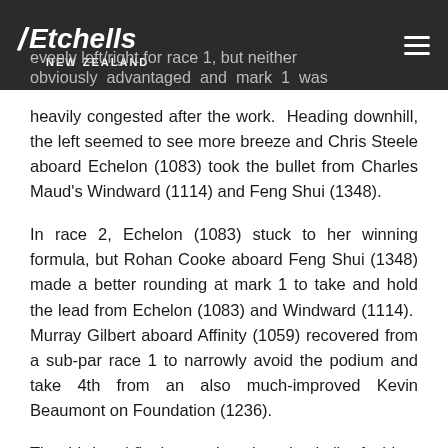Etchells NEW ZEALAND
evenly left/right for race 1, but neither side was obviously advantaged and mark 1 was heavily congested after the work. Heading downhill, the left seemed to see more breeze and Chris Steele aboard Echelon (1083) took the bullet from Charles Maud's Windward (1114) and Feng Shui (1348).
In race 2, Echelon (1083) stuck to her winning formula, but Rohan Cooke aboard Feng Shui (1348) made a better rounding at mark 1 to take and hold the lead from Echelon (1083) and Windward (1114). Murray Gilbert aboard Affinity (1059) recovered from a sub-par race 1 to narrowly avoid the podium and take 4th from an also much-improved Kevin Beaumont on Foundation (1236).
The third and final race played out in similar fashion, with Echelon (1083) and Feng Shui (1348) again